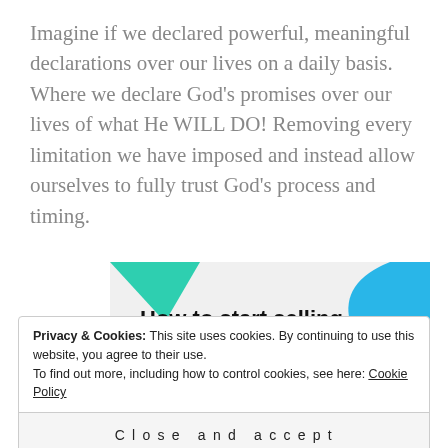Imagine if we declared powerful, meaningful declarations over our lives on a daily basis. Where we declare God's promises over our lives of what He WILL DO! Removing every limitation we have imposed and instead allow ourselves to fully trust God's process and timing.
[Figure (illustration): Advertisement banner with light gray background, teal triangle top-left corner, blue curved shape top-right corner, and bold text reading 'How to start selling subscriptions online']
Privacy & Cookies: This site uses cookies. By continuing to use this website, you agree to their use.
To find out more, including how to control cookies, see here: Cookie Policy
Close and accept